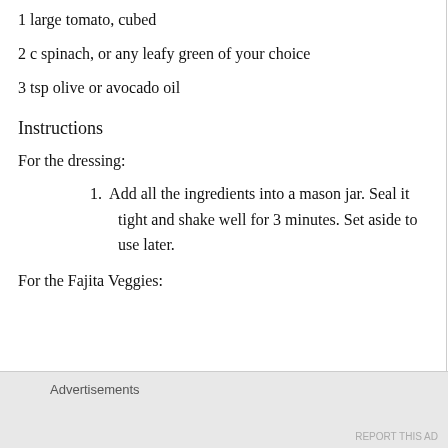1 large tomato, cubed
2 c spinach, or any leafy green of your choice
3 tsp olive or avocado oil
Instructions
For the dressing:
1. Add all the ingredients into a mason jar. Seal it tight and shake well for 3 minutes. Set aside to use later.
For the Fajita Veggies:
Advertisements